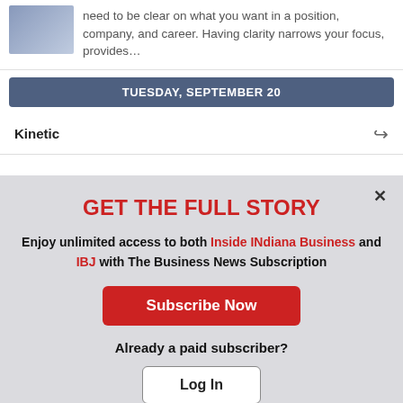need to be clear on what you want in a position, company, and career. Having clarity narrows your focus, provides…
TUESDAY, SEPTEMBER 20
Kinetic
GET THE FULL STORY
Enjoy unlimited access to both Inside INdiana Business and IBJ with The Business News Subscription
Subscribe Now
Already a paid subscriber?
Log In